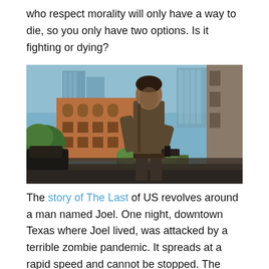who respect morality will only have a way to die, so you only have two options. Is it fighting or dying?
[Figure (illustration): Game artwork showing a rugged man holding a gun in a post-apocalyptic urban setting with ruined buildings and overgrown vegetation, from The Last of Us.]
The story of The Last of US revolves around a man named Joel. One night, downtown Texas where Joel lived, was attacked by a terrible zombie pandemic. It spreads at a rapid speed and cannot be stopped. The virus swept through large cities. The government army used a lot of modern equipment